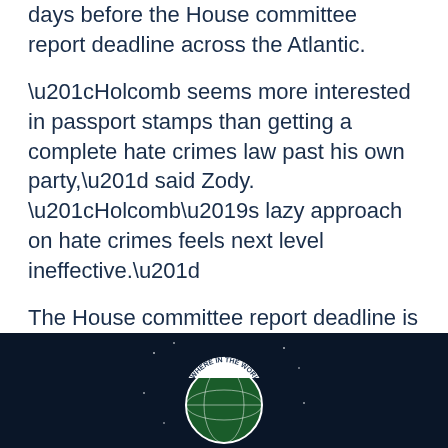than a quarter of the legislative working days before the House committee report deadline across the Atlantic.
“Holcomb seems more interested in passport stamps than getting a complete hate crimes law past his own party,” said Zody. “Holcomb’s lazy approach on hate crimes feels next level ineffective.”
The House committee report deadline is April 9.
###
[Figure (logo): Circular logo with text 'WHERE IN THE WORLD IS' around the top arc, featuring a globe graphic in the center on a dark navy/space background]